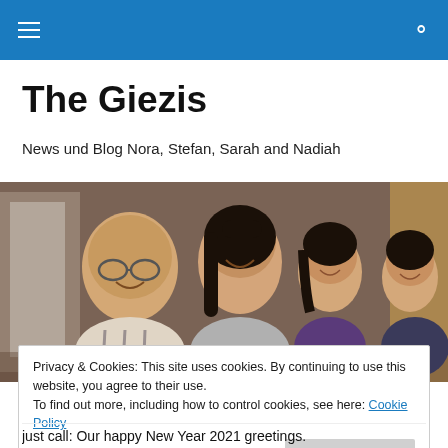[Navigation bar with hamburger menu and search icon]
The Giezis
News und Blog Nora, Stefan, Sarah and Nadiah
[Figure (photo): Family photo of four people smiling together indoors — a man with glasses, a woman, and two young girls]
Privacy & Cookies: This site uses cookies. By continuing to use this website, you agree to their use.
To find out more, including how to control cookies, see here: Cookie Policy
[Close and accept button]
just call: Our happy New Year 2021 greetings.